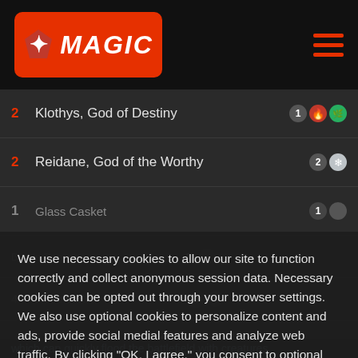[Figure (logo): Magic: The Gathering logo with flame/planeswalker symbol on red background]
2 Klothys, God of Destiny
2 Reidane, God of the Worthy
1 Glass Casket
We use necessary cookies to allow our site to function correctly and collect anonymous session data. Necessary cookies can be opted out through your browser settings. We also use optional cookies to personalize content and ads, provide social medial features and analyze web traffic. By clicking “OK, I agree,” you consent to optional cookies. (Learn more about cookies.)
OK, I agree
No, thanks
which can quickly flood the battlefield with creatures